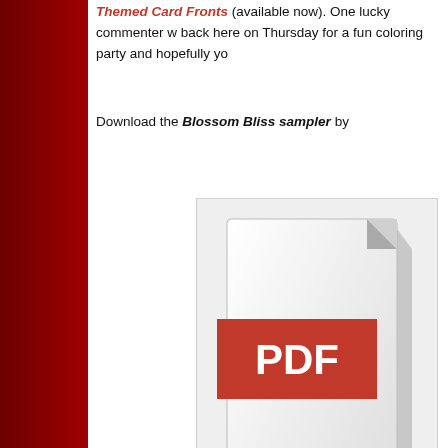Themed Card Fronts (available now). One lucky commenter will be back here on Thursday for a fun coloring party and hopefully yo
Download the Blossom Bliss sampler by
[Figure (illustration): PDF download icon showing a document with a red PDF banner and a red downward arrow]
Download
(Having trouble downloading? No worries! Just email stamplo... to you.)
Happy colo